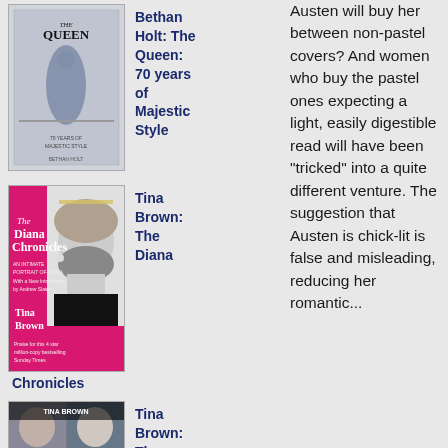[Figure (photo): Book cover: The Queen: 70 Years of Majestic Style by Bethan Holt]
Bethan Holt: The Queen: 70 years of Majestic Style
[Figure (photo): Book cover: The Diana Chronicles by Tina Brown]
Tina Brown: The Diana Chronicles
[Figure (photo): Book cover: The Palace Papers by Tina Brown]
Tina Brown: The Palace Papers
Austen will buy her between non-pastel covers? And women who buy the pastel ones expecting a light, easily digestible read will have been "tricked" into a quite different venture. The suggestion that Austen is chick-lit is false and misleading, reducing her romantic...